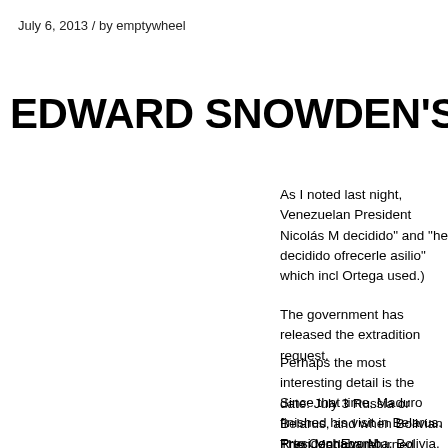July 6, 2013 / by emptywheel
EDWARD SNOWDEN'S EXTRA
As I noted last night, Venezuelan President Nicolás M decidido" and "he decidido ofrecerle asilio" which incl Ortega used.)
The government has released the extradition request.
Perhaps the most interesting detail is the date: July 3 Russia or Belarus, and when Bolivian President Evo M
Since that time, Maduro finished his visit in Belarus. R to Cochabamba, Bolivia, where at least 6 South Ame Morales and Maduro, the Presidents of Ecuador, Suri representative, as had, according to some reports, Pe
Then Maduro returned home in time for Venezuela's N